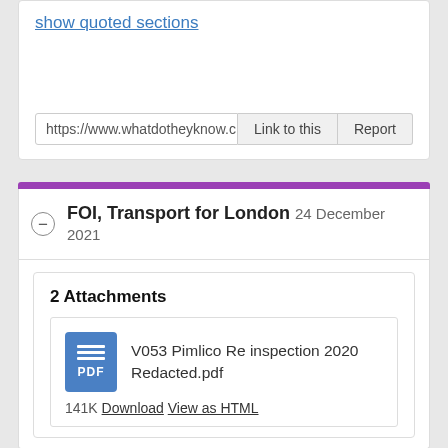show quoted sections
https://www.whatdotheyknow.c
Link to this
Report
FOI, Transport for London 24 December 2021
2 Attachments
V053 Pimlico Re inspection 2020 Redacted.pdf
141K Download View as HTML